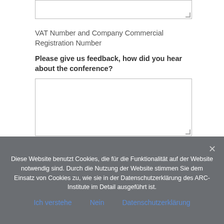[Figure (other): Text input box (form field) at top of page]
VAT Number and Company Commercial Registration Number
Please give us feedback, how did you hear about the conference?
[Figure (other): Large textarea form field for conference feedback]
If you have any ideas, questions or feedback, we are happy to support you. Please send us a short message here:
[Figure (other): Textarea form field for short message]
Diese Website benutzt Cookies, die für die Funktionalität auf der Website notwendig sind. Durch die Nutzung der Website stimmen Sie dem Einsatz von Cookies zu, wie sie in der Datenschutzerklärung des ARC-Institute im Detail ausgeführt ist.
Ich verstehe
Nein
Datenschutzerklärung